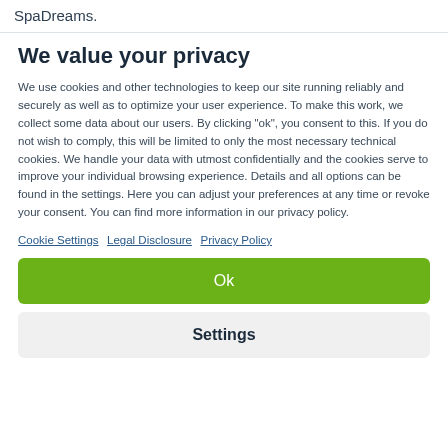SpaDreams.
We value your privacy
We use cookies and other technologies to keep our site running reliably and securely as well as to optimize your user experience. To make this work, we collect some data about our users. By clicking "ok", you consent to this. If you do not wish to comply, this will be limited to only the most necessary technical cookies. We handle your data with utmost confidentially and the cookies serve to improve your individual browsing experience. Details and all options can be found in the settings. Here you can adjust your preferences at any time or revoke your consent. You can find more information in our privacy policy.
Cookie Settings  Legal Disclosure  Privacy Policy
Ok
Settings